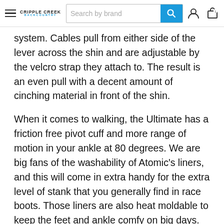Cripple Creek Backcountry | Search by brand | user icon | cart icon
system. Cables pull from either side of the lever across the shin and are adjustable by the velcro strap they attach to. The result is an even pull with a decent amount of cinching material in front of the shin.
When it comes to walking, the Ultimate has a friction free pivot cuff and more range of motion in your ankle at 80 degrees. We are big fans of the washability of Atomic's liners, and this will come in extra handy for the extra level of stank that you generally find in race boots. Those liners are also heat moldable to keep the feet and ankle comfy on big days. The 750 gram weight